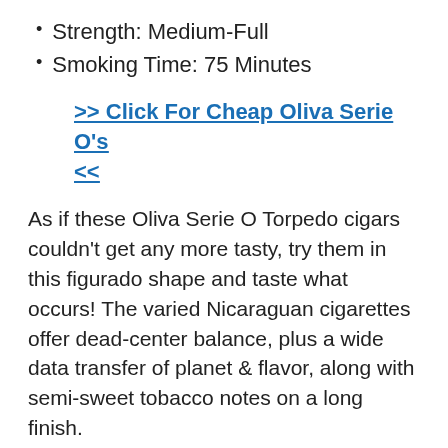Strength: Medium-Full
Smoking Time: 75 Minutes
>> Click For Cheap Oliva Serie O's <<
As if these Oliva Serie O Torpedo cigars couldn't get any more tasty, try them in this figurado shape and taste what occurs! The varied Nicaraguan cigarettes offer dead-center balance, plus a wide data transfer of planet & flavor, along with semi-sweet tobacco notes on a long finish.
Make Sure You Have A Good Humidor